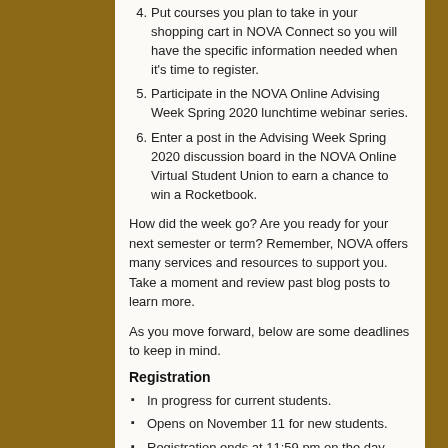Put courses you plan to take in your shopping cart in NOVA Connect so you will have the specific information needed when it's time to register.
Participate in the NOVA Online Advising Week Spring 2020 lunchtime webinar series.
Enter a post in the Advising Week Spring 2020 discussion board in the NOVA Online Virtual Student Union to earn a chance to win a Rocketbook.
How did the week go?  Are you ready for your next semester or term?  Remember, NOVA offers many services and resources to support you.  Take a moment and review past blog posts to learn more.
As you move forward, below are some deadlines to keep in mind.
Registration
In progress for current students.
Opens on November 11 for new students.
Registration ends at 11:59 pm on the day prior to a